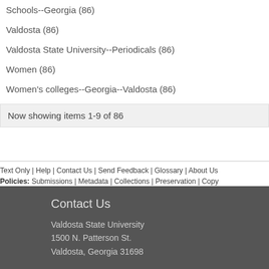Schools--Georgia (86)
Valdosta (86)
Valdosta State University--Periodicals (86)
Women (86)
Women's colleges--Georgia--Valdosta (86)
Now showing items 1-9 of 86
Text Only | Help | Contact Us | Send Feedback | Glossary | About Us
Policies: Submissions | Metadata | Collections | Preservation | Copy
Contact Us
Valdosta State University
1500 N. Patterson St.
Valdosta, Georgia 31698